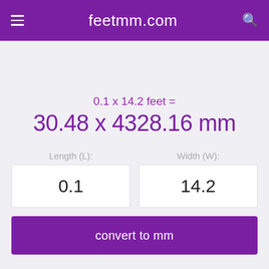≡ feetmm.com 🔍
0.1 x 14.2 feet =
30.48 x 4328.16 mm
Length (L):
0.1
Width (W):
14.2
convert to mm